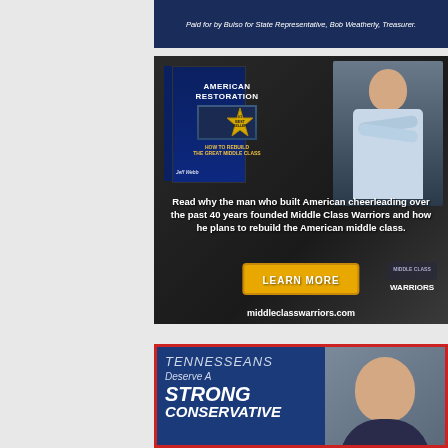[Figure (other): Political campaign ad footer: dark navy background with white italic text reading 'Paid for by Bulso for State Representative, Bob Weatherly, Treasurer.']
[Figure (infographic): Middle Class Warriors advertisement featuring a book titled 'American Restoration' by Jeff Webb with a #1 Best Seller badge, a man in a light blue shirt with arms crossed, bold white text reading 'Read why the man who built American cheerleading over the past 40 years founded Middle Class Warriors and how he plans to rebuild the American middle class.', a yellow 'LEARN MORE' button, 'Middle Class Warriors' logo, and 'middleclasswarriors.com' URL.]
[Figure (infographic): Political campaign advertisement with red border, blue background, partial text reading 'TENNESSEANS Deserve A STRONG CONSERVATIVE' in bold white and light blue italic text, with a man's face visible on the right side.]